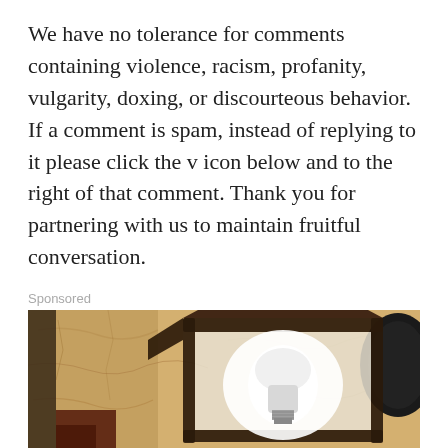We have no tolerance for comments containing violence, racism, profanity, vulgarity, doxing, or discourteous behavior. If a comment is spam, instead of replying to it please click the v icon below and to the right of that comment. Thank you for partnering with us to maintain fruitful conversation.
Sponsored
[Figure (photo): A close-up photograph of a black metal wall-mounted outdoor lantern light fixture with a glowing white bulb inside, mounted on a textured sandy/stone-colored wall.]